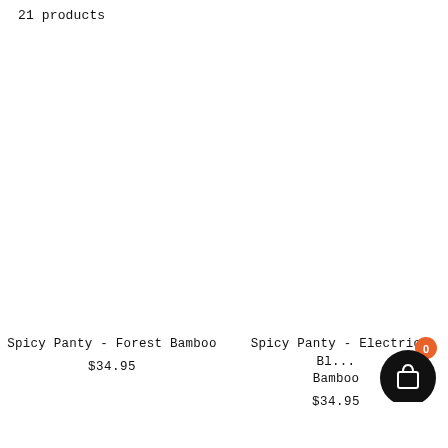21 products
Spicy Panty - Forest Bamboo
$34.95
Spicy Panty - Electric Blu... Bamboo
$34.95
[Figure (other): Shopping cart icon button with badge showing 0, dark circular background]